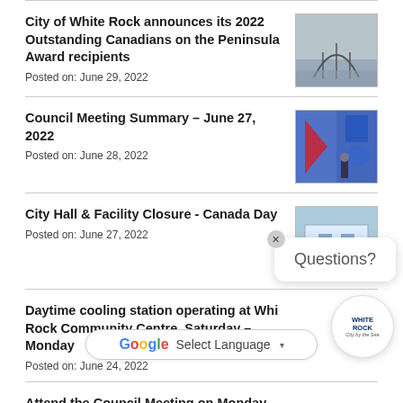City of White Rock announces its 2022 Outstanding Canadians on the Peninsula Award recipients
Posted on: June 29, 2022
Council Meeting Summary – June 27, 2022
Posted on: June 28, 2022
City Hall & Facility Closure - Canada Day
Posted on: June 27, 2022
Daytime cooling station operating at White Rock Community Centre, Saturday – Monday
Posted on: June 24, 2022
Attend the Council Meeting on Monday, June 27 at 7 p.m.
[Figure (screenshot): Google Translate language selector bar overlay]
[Figure (other): Questions? chat popup widget with close button]
[Figure (logo): White Rock City by the Sea circular logo]